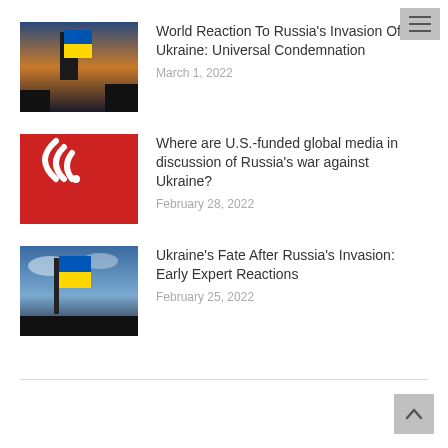[Figure (other): Menu/hamburger icon in top right corner, grey background with three horizontal lines]
[Figure (photo): Ukrainian flag against a dramatic sky with dark silhouettes of trees]
World Reaction To Russia’s Invasion Of Ukraine: Universal Condemnation
March 1, 2022
[Figure (logo): Red background with white curved radio wave lines (VOA-style logo)]
Where are U.S.-funded global media in discussion of Russia’s war against Ukraine?
February 28, 2022
[Figure (photo): Ukrainian flag against a blue sky with clouds, dark landscape below]
Ukraine’s Fate After Russia’s Invasion: Early Expert Reactions
February 25, 2022